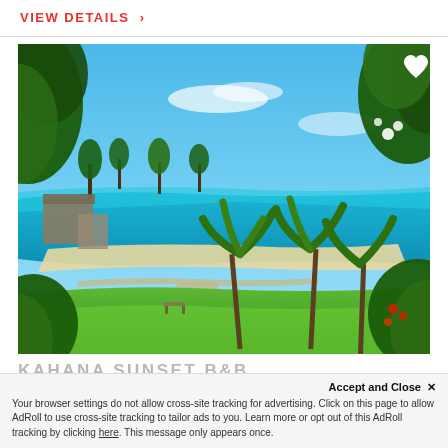VIEW DETAILS >
[Figure (photo): Aerial/elevated view of a Hawaiian beach resort area with turquoise ocean water, sandy beach, green lawn, palm trees, tropical flowers, and resort buildings surrounded by lush tropical vegetation under a bright blue sky.]
KAHANA SUNSET B&B
Accept and Close ×
Your browser settings do not allow cross-site tracking for advertising. Click on this page to allow AdRoll to use cross-site tracking to tailor ads to you. Learn more or opt out of this AdRoll tracking by clicking here. This message only appears once.